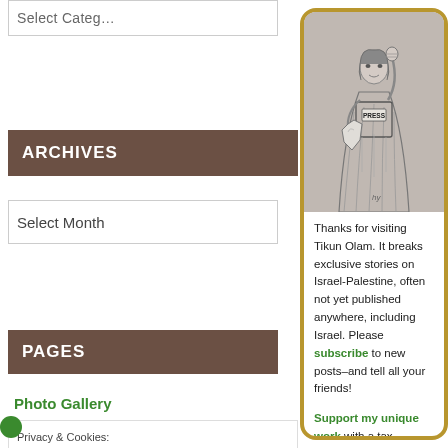Select Categ…
ARCHIVES
Select Month
PAGES
Photo Gallery
Privacy & Cookies: website, you agree To find out more, i Policy
[Figure (illustration): Illustration of a journalist figure dressed as the Statue of Liberty wearing a PRESS vest, raising one fist, holding a map shape in the other hand. Drawn in pencil/ink style on gray background.]
Thanks for visiting Tikun Olam. It breaks exclusive stories on Israel-Palestine, often not yet published anywhere, including Israel. Please subscribe to new posts–and tell all your friends!
Support my unique work with a tax-deductible donation to Media Alliance, my fiscal sponsor.